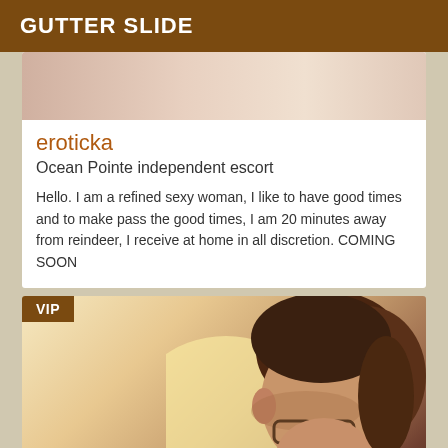GUTTER SLIDE
[Figure (photo): Partial blurred photo used as card top image]
eroticka
Ocean Pointe independent escort
Hello. I am a refined sexy woman, I like to have good times and to make pass the good times, I am 20 minutes away from reindeer, I receive at home in all discretion. COMING SOON
[Figure (photo): VIP badge photo showing a person with glasses and dark hair, warm toned background]